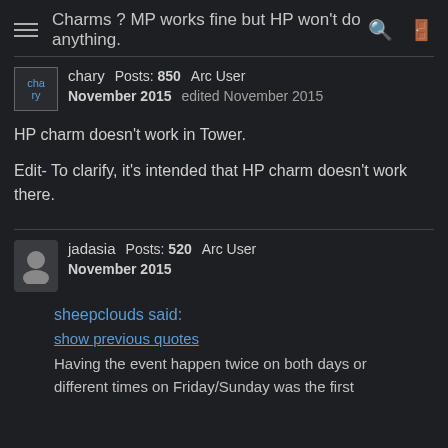Charms ? MP works fine but HP won't do anything.
chary   Posts: 850   Arc User
November 2015   edited November 2015
HP charm doesn't work in Tower.

Edit- To clarify, it's intended that HP charm doesn't work there.
jadasia   Posts: 520   Arc User
November 2015
sheepclouds said:
show previous quotes
Having the event happen twice on both days or different times on Friday/Sunday was the first